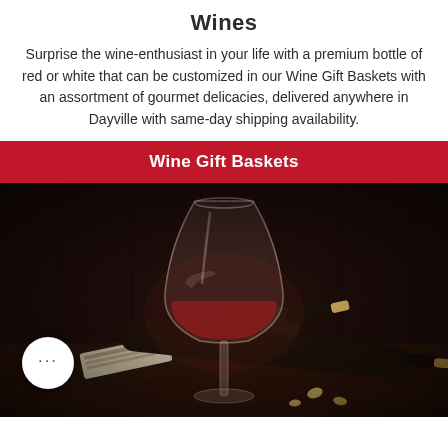Wines
Surprise the wine-enthusiast in your life with a premium bottle of red or white that can be customized in our Wine Gift Baskets with an assortment of gourmet delicacies, delivered anywhere in Dayville with same-day shipping availability.
Wine Gift Baskets
[Figure (photo): A wine glass filled with red wine beside two dark wine bottles lying on a wooden surface, with corks scattered around, dark moody background.]